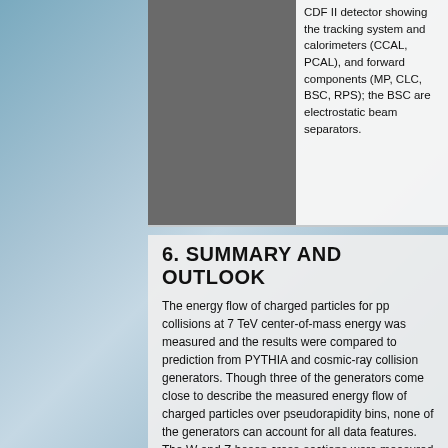CDF II detector showing the tracking system and calorimeters (CCAL, PCAL), and forward components (MP, CLC, BSC, RPS); the BSC are electrostatic beam separators.
6. SUMMARY AND OUTLOOK
The energy flow of charged particles for pp collisions at 7 TeV center-of-mass energy was measured and the results were compared to prediction from PYTHIA and cosmic-ray collision generators. Though three of the generators come close to describe the measured energy flow of charged particles over pseudorapidity bins, none of the generators can account for all data features. The W and Z boson cross-sections were measured by LHCb at 7 TeV for muon in [2, 4, 5], GeV/c, and in